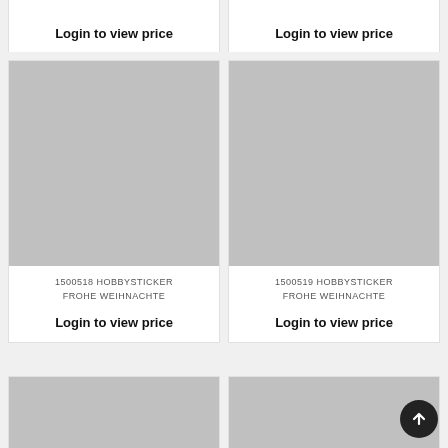Login to view price
Login to view price
[Figure (photo): Gray placeholder image for product 1500518 HOBBYSTICKER FROHE WEIHNACHTE]
[Figure (photo): Gray placeholder image for product 1500519 HOBBYSTICKER FROHE WEIHNACHTE]
1500518 HOBBYSTICKER FROHE WEIHNACHTE
Login to view price
1500519 HOBBYSTICKER FROHE WEIHNACHTE
Login to view price
[Figure (photo): Gray placeholder image (bottom left, partially visible)]
[Figure (photo): Gray placeholder image (bottom right, partially visible)]